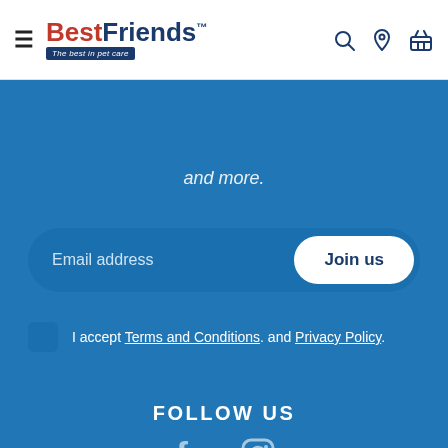[Figure (logo): BestFriends pet care logo with hamburger menu icon]
and more.
Email address
Join us
I accept Terms and Conditions. and Privacy Policy.
FOLLOW US
[Figure (illustration): Facebook and Instagram social media icons]
OUR SERVICES